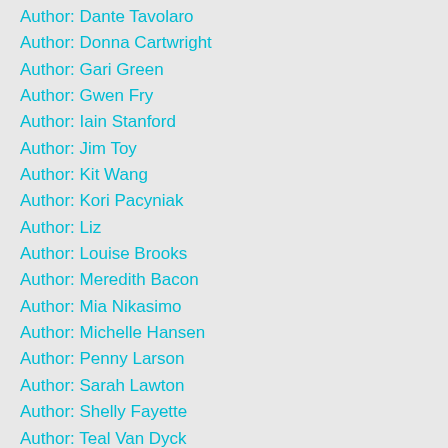Author: Dante Tavolaro
Author: Donna Cartwright
Author: Gari Green
Author: Gwen Fry
Author: Iain Stanford
Author: Jim Toy
Author: Kit Wang
Author: Kori Pacyniak
Author: Liz
Author: Louise Brooks
Author: Meredith Bacon
Author: Mia Nikasimo
Author: Michelle Hansen
Author: Penny Larson
Author: Sarah Lawton
Author: Shelly Fayette
Author: Teal Van Dyck
Author: Vicki Gray
B012 2018